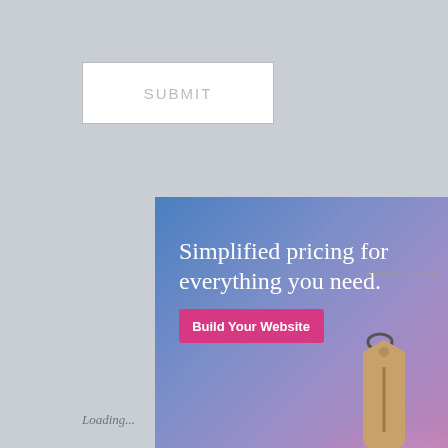SUBMIT
[Figure (screenshot): WordPress.com advertisement banner with blue-purple gradient background, large white text 'Simplified pricing for everything you need.', a pink 'Build Your Website' button, a tan/beige price tag hanging from a metal ring, and WordPress.com branding logo at bottom left.]
REPORT THIS AD
Loading...